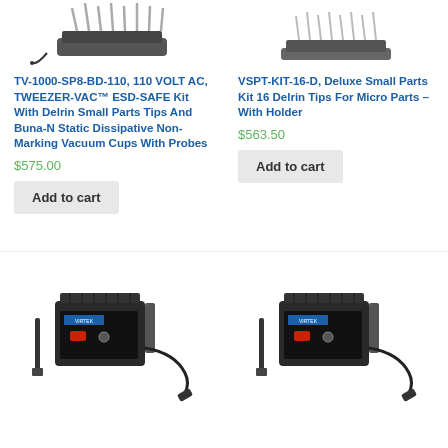[Figure (photo): Tweezer-Vac ESD-safe vacuum tweezer kit with multiple small parts tips and charging dock]
[Figure (photo): Small parts kit with 16 Delrin tips and holder]
TV-1000-SP8-BD-110, 110 VOLT AC, TWEEZER-VAC™ ESD-SAFE Kit With Delrin Small Parts Tips And Buna-N Static Dissipative Non-Marking Vacuum Cups With Probes
VSPT-KIT-16-D, Deluxe Small Parts Kit 16 Delrin Tips For Micro Parts – With Holder
$575.00
$563.50
Add to cart
Add to cart
[Figure (photo): Electronic vacuum control unit with power switch, black finned housing, probe and power cord]
[Figure (photo): Electronic vacuum control unit with power switch, black finned housing, probe and power cord]